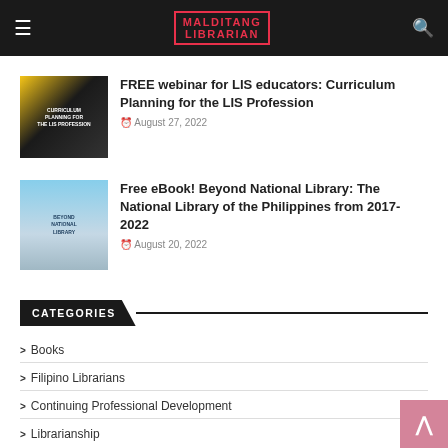MALDITANG LIBRARIAN
FREE webinar for LIS educators: Curriculum Planning for the LIS Profession
August 27, 2022
Free eBook! Beyond National Library: The National Library of the Philippines from 2017-2022
August 20, 2022
CATEGORIES
Books
Filipino Librarians
Continuing Professional Development
Librarianship